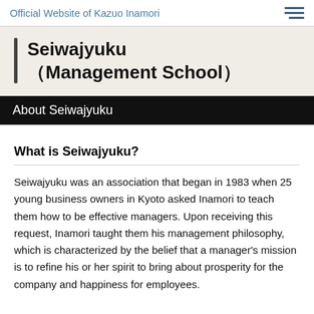Official Website of Kazuo Inamori
Seiwajyuku
（Management School）
About Seiwajyuku
What is Seiwajyuku?
Seiwajyuku was an association that began in 1983 when 25 young business owners in Kyoto asked Inamori to teach them how to be effective managers. Upon receiving this request, Inamori taught them his management philosophy, which is characterized by the belief that a manager's mission is to refine his or her spirit to bring about prosperity for the company and happiness for employees.